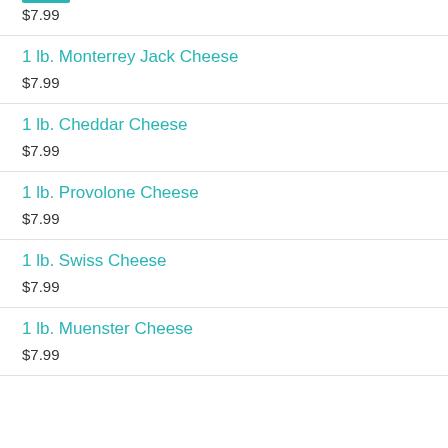$7.99
1 lb. Monterrey Jack Cheese
$7.99
1 lb. Cheddar Cheese
$7.99
1 lb. Provolone Cheese
$7.99
1 lb. Swiss Cheese
$7.99
1 lb. Muenster Cheese
$7.99